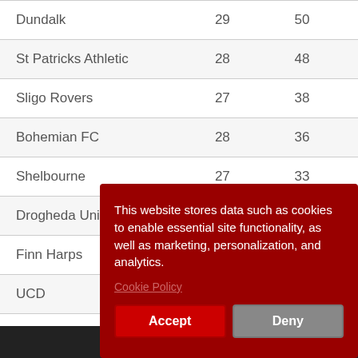| Club | P | Pts |
| --- | --- | --- |
| Dundalk | 29 | 50 |
| St Patricks Athletic | 28 | 48 |
| Sligo Rovers | 27 | 38 |
| Bohemian FC | 28 | 36 |
| Shelbourne | 27 | 33 |
| Drogheda United | 28 | 31 |
| Finn Harps |  |  |
| UCD |  |  |
This website stores data such as cookies to enable essential site functionality, as well as marketing, personalization, and analytics.
Cookie Policy
Accept
Deny